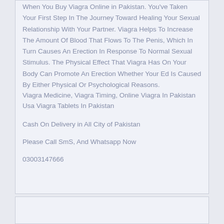When You Buy Viagra Online in Pakistan. You've Taken Your First Step In The Journey Toward Healing Your Sexual Relationship With Your Partner. Viagra Helps To Increase The Amount Of Blood That Flows To The Penis, Which In Turn Causes An Erection In Response To Normal Sexual Stimulus. The Physical Effect That Viagra Has On Your Body Can Promote An Erection Whether Your Ed Is Caused By Either Physical Or Psychological Reasons.
Viagra Medicine, Viagra Timing, Online Viagra In Pakistan Usa Viagra Tablets In Pakistan
Cash On Delivery in All City of Pakistan
Please Call SmS, And Whatsapp Now
03003147666